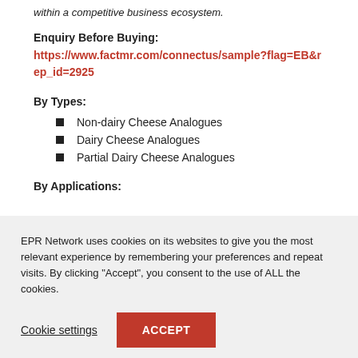within a competitive business ecosystem.
Enquiry Before Buying: https://www.factmr.com/connectus/sample?flag=EB&rep_id=2925
By Types:
Non-dairy Cheese Analogues
Dairy Cheese Analogues
Partial Dairy Cheese Analogues
By Applications:
EPR Network uses cookies on its websites to give you the most relevant experience by remembering your preferences and repeat visits. By clicking "Accept", you consent to the use of ALL the cookies.
Cookie settings  ACCEPT